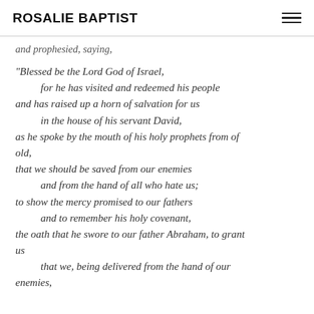ROSALIE BAPTIST
and prophesied, saying,
“Blessed be the Lord God of Israel,
    for he has visited and redeemed his people
and has raised up a horn of salvation for us
    in the house of his servant David,
as he spoke by the mouth of his holy prophets from of old,
that we should be saved from our enemies
    and from the hand of all who hate us;
to show the mercy promised to our fathers
    and to remember his holy covenant,
the oath that he swore to our father Abraham, to grant us
    that we, being delivered from the hand of our enemies,